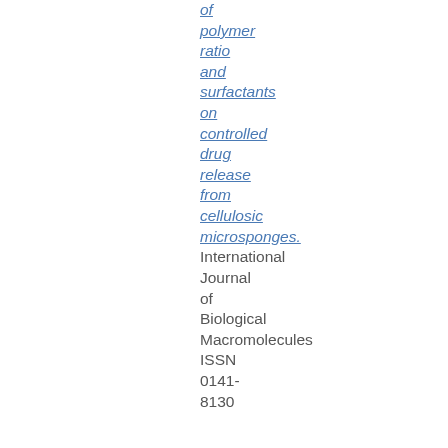of polymer ratio and surfactants on controlled drug release from cellulosic microsponges.
International Journal of Biological Macromolecules ISSN 0141-8130